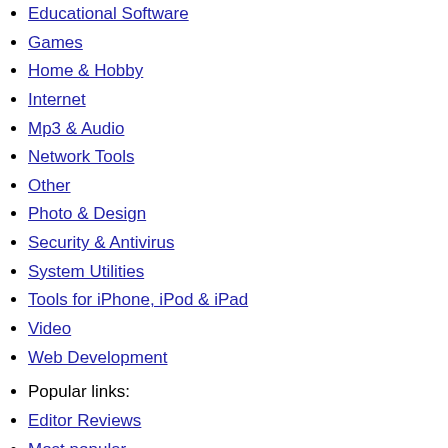Educational Software
Games
Home & Hobby
Internet
Mp3 & Audio
Network Tools
Other
Photo & Design
Security & Antivirus
System Utilities
Tools for iPhone, iPod & iPad
Video
Web Development
Popular links:
Editor Reviews
Most popular
New releases
Our picks
Essential downloads
Windows RSS feed
Mac
Business & Finance